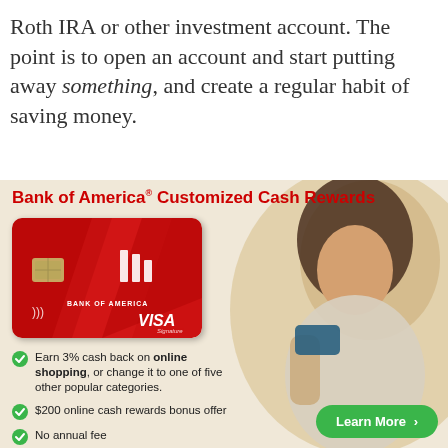Roth IRA or other investment account. The point is to open an account and start putting away something, and create a regular habit of saving money.
[Figure (illustration): Bank of America Customized Cash Rewards credit card advertisement. Features a red Bank of America Visa Signature credit card image on the left, a woman looking at her phone/card on the right background, and bullet points listing: Earn 3% cash back on online shopping, or change it to one of five other popular categories; $200 online cash rewards bonus offer; No annual fee. A green 'Learn More >' button appears at bottom right.]